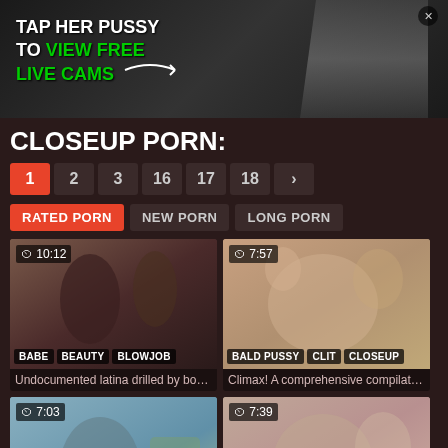[Figure (photo): Advertisement banner with text 'TAP HER PUSSY TO VIEW FREE LIVE CAMS' and a female silhouette]
CLOSEUP PORN:
Pagination: 1 (active) 2 3 16 17 18 >
Filter tabs: RATED PORN (active), NEW PORN, LONG PORN
[Figure (photo): Video thumbnail: duration 10:12, tags BABE BEAUTY BLOWJOB, title: Undocumented latina drilled by bord...]
[Figure (photo): Video thumbnail: duration 7:57, tags BALD PUSSY CLIT CLOSEUP, title: Climax! A comprehensive compilatio...]
[Figure (photo): Video thumbnail: duration 7:03, partial view at bottom]
[Figure (photo): Video thumbnail: duration 7:39, partial view at bottom]